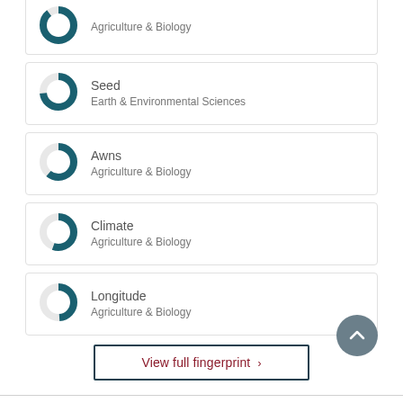Agriculture & Biology
Seed
Earth & Environmental Sciences
Awns
Agriculture & Biology
Climate
Agriculture & Biology
Longitude
Agriculture & Biology
View full fingerprint ›
Cite this